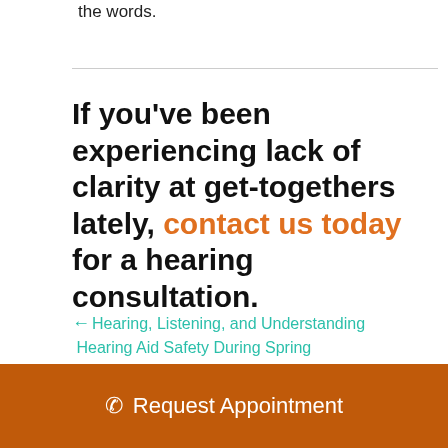the words.
If you've been experiencing lack of clarity at get-togethers lately, contact us today for a hearing consultation.
← Hearing, Listening, and Understanding
Hearing Aid Safety During Spring Activities →
Request Appointment